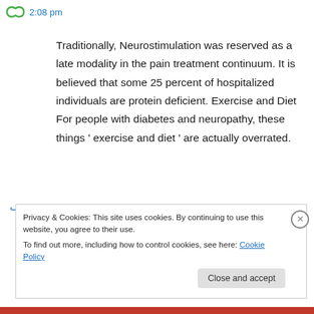2:08 pm
Traditionally, Neurostimulation was reserved as a late modality in the pain treatment continuum. It is believed that some 25 percent of hospitalized individuals are protein deficient. Exercise and Diet For people with diabetes and neuropathy, these things ‘ exercise and diet ’ are actually overrated.
↪ Reply
Privacy & Cookies: This site uses cookies. By continuing to use this website, you agree to their use.
To find out more, including how to control cookies, see here: Cookie Policy